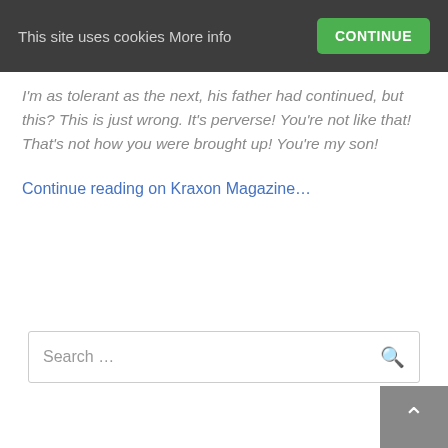This site uses cookies More info  CONTINUE
I'm as tolerant as the next, his father had continued, but this? This is just wrong. It's perverse! You're not like that! That's not how you were brought up! You're my son!
Continue reading on Kraxon Magazine…